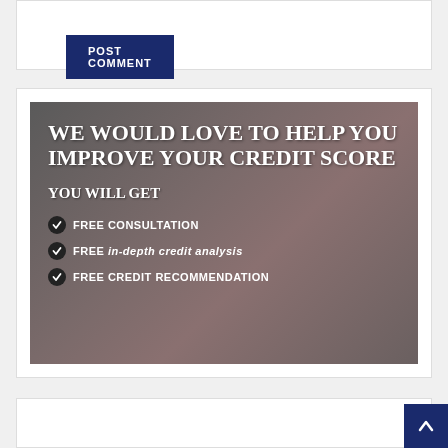POST COMMENT
[Figure (infographic): Advertisement banner with dark gray/brown background. Heading: 'WE WOULD LOVE TO HELP YOU IMPROVE YOUR CREDIT SCORE'. Subheading: 'YOU WILL GET'. Three bullet points with dark circular checkmarks: 'FREE CONSULTATION', 'FREE in-depth credit analysis', 'FREE CREDIT RECOMMENDATION'.]